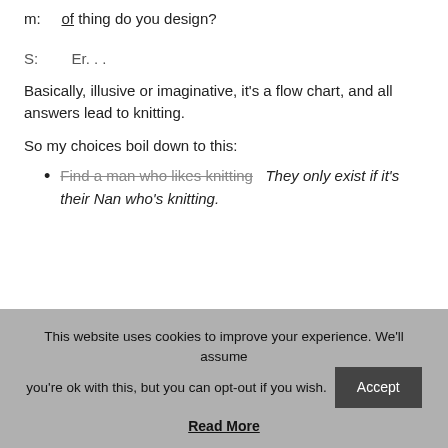m: Your profile says you're a textile designer, what kind of thing do you design?
S:       Er. . .
Basically, illusive or imaginative, it's a flow chart, and all answers lead to knitting.
So my choices boil down to this:
Find a man who likes knitting   They only exist if it's their Nan who's knitting.
This website uses cookies to improve your experience. We'll assume you're ok with this, but you can opt-out if you wish. Accept Read More